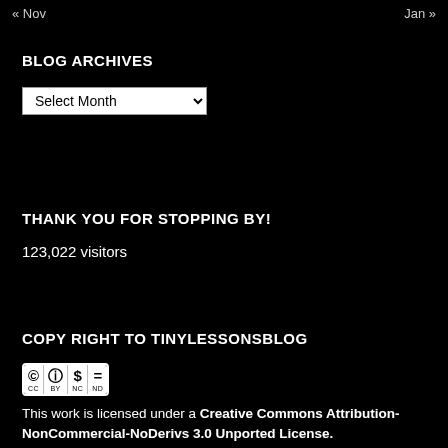« Nov    Jan »
BLOG ARCHIVES
Select Month
THANK YOU FOR STOPPING BY!
123,022 visitors
COPY RIGHT TO TINYLESSONSBLOG
[Figure (logo): Creative Commons license badge with CC BY NC ND icons]
This work is licensed under a Creative Commons Attribution-NonCommercial-NoDerivs 3.0 Unported License.